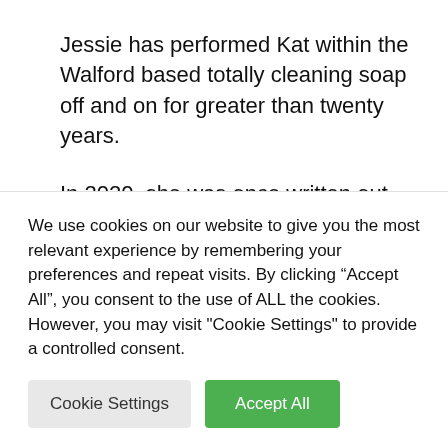Jessie has performed Kat within the Walford based totally cleaning soap off and on for greater than twenty years.
In 2020, she was once written out through manufacturers for 2 months following an “incident whilst filming”.
We use cookies on our website to give you the most relevant experience by remembering your preferences and repeat visits. By clicking “Accept All”, you consent to the use of ALL the cookies. However, you may visit "Cookie Settings" to provide a controlled consent.